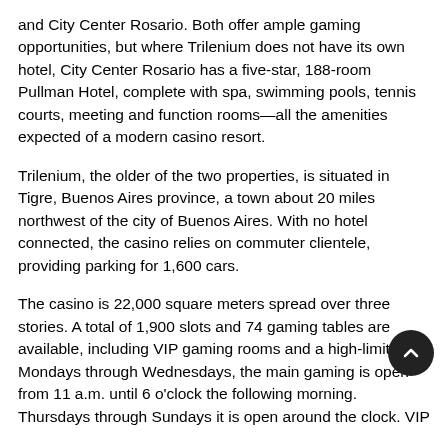and City Center Rosario. Both offer ample gaming opportunities, but where Trilenium does not have its own hotel, City Center Rosario has a five-star, 188-room Pullman Hotel, complete with spa, swimming pools, tennis courts, meeting and function rooms—all the amenities expected of a modern casino resort.
Trilenium, the older of the two properties, is situated in Tigre, Buenos Aires province, a town about 20 miles northwest of the city of Buenos Aires. With no hotel connected, the casino relies on commuter clientele, providing parking for 1,600 cars.
The casino is 22,000 square meters spread over three stories. A total of 1,900 slots and 74 gaming tables are available, including VIP gaming rooms and a high-limit area. Mondays through Wednesdays, the main gaming is open from 11 a.m. until 6 o'clock the following morning. Thursdays through Sundays it is open around the clock. VIP